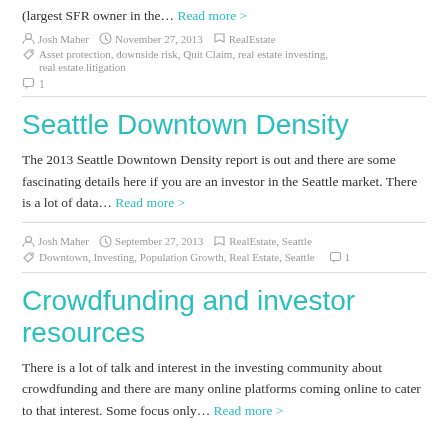(largest SFR owner in the… Read more >
Josh Maher  November 27, 2013  RealEstate  Asset protection, downside risk, Quit Claim, real estate investing, real estate litigation  1
Seattle Downtown Density
The 2013 Seattle Downtown Density report is out and there are some fascinating details here if you are an investor in the Seattle market. There is a lot of data… Read more >
Josh Maher  September 27, 2013  RealEstate, Seattle  Downtown, Investing, Population Growth, Real Estate, Seattle  1
Crowdfunding and investor resources
There is a lot of talk and interest in the investing community about crowdfunding and there are many online platforms coming online to cater to that interest. Some focus only… Read more >